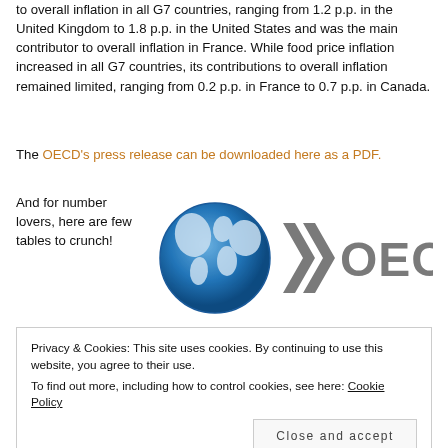to overall inflation in all G7 countries, ranging from 1.2 p.p. in the United Kingdom to 1.8 p.p. in the United States and was the main contributor to overall inflation in France. While food price inflation increased in all G7 countries, its contributions to overall inflation remained limited, ranging from 0.2 p.p. in France to 0.7 p.p. in Canada.
The OECD's press release can be downloaded here as a PDF.
And for number lovers, here are few tables to crunch!
[Figure (logo): OECD logo with globe icon and text 'OECD']
Privacy & Cookies: This site uses cookies. By continuing to use this website, you agree to their use.
To find out more, including how to control cookies, see here: Cookie Policy
Close and accept